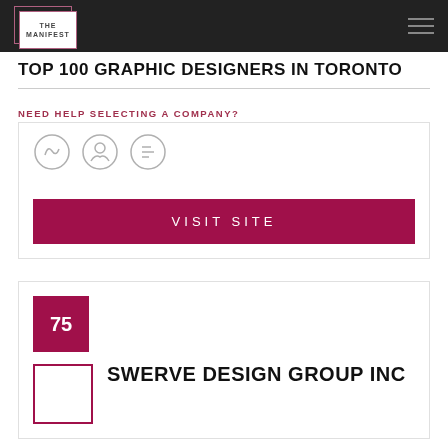THE MANIFEST
TOP 100 GRAPHIC DESIGNERS IN TORONTO
NEED HELP SELECTING A COMPANY?
[Figure (illustration): Three partially visible circular icon badges/logos]
VISIT SITE
75
SWERVE DESIGN GROUP INC